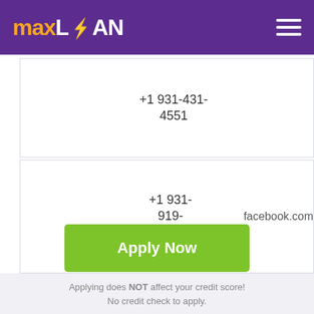maxLOAN
+1 931-431-4551
+1 931-919-2425
facebook.com
Apply Now
Applying does NOT affect your credit score! No credit check to apply.